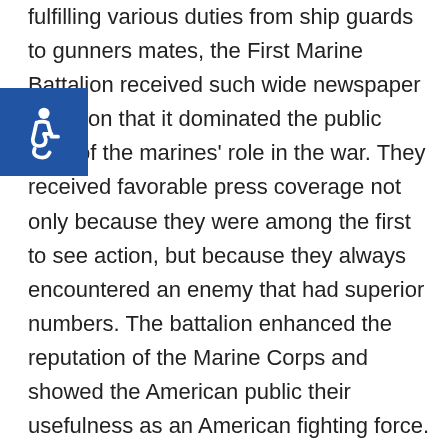fulfilling various duties from ship guards to gunners mates, the First Marine Battalion received such wide newspaper attention that it dominated the public view of the marines' role in the war. They received favorable press coverage not only because they were among the first to see action, but because they always encountered an enemy that had superior numbers. The battalion enhanced the reputation of the Marine Corps and showed the American public their usefulness as an American fighting force. Newspapers also reported on the low rate of disease and sickness in the battalion as opposed to the high rate found in army units. The Corps...